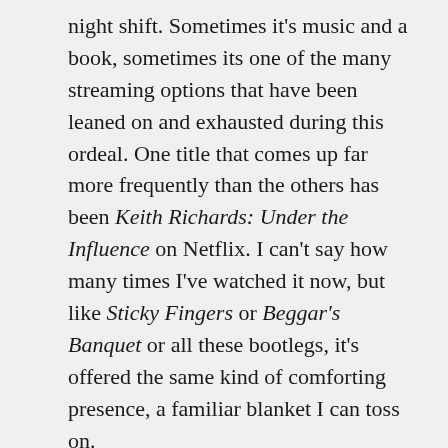night shift. Sometimes it's music and a book, sometimes its one of the many streaming options that have been leaned on and exhausted during this ordeal. One title that comes up far more frequently than the others has been Keith Richards: Under the Influence on Netflix. I can't say how many times I've watched it now, but like Sticky Fingers or Beggar's Banquet or all these bootlegs, it's offered the same kind of comforting presence, a familiar blanket I can toss on.
I think I avoided listening to the Stones specifically on the day of this show, but it wasn't long before I was back into that groove